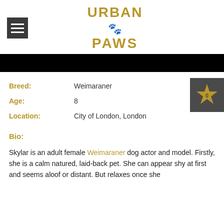Urban Paws logo with hamburger menu
[Figure (other): Black navigation bar]
Breed: Weimaraner
Age: 8
Location: City of London, London
Bio:
Skylar is an adult female Weimaraner dog actor and model. Firstly, she is a calm natured, laid-back pet. She can appear shy at first and seems aloof or distant. But relaxes once she